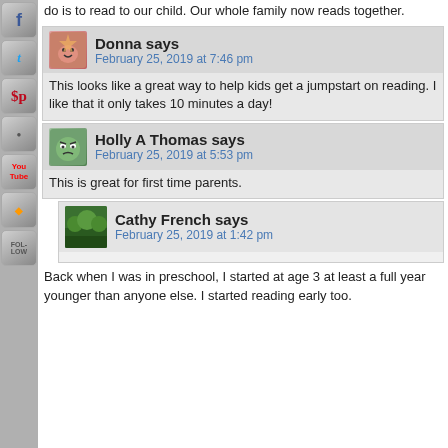do is to read to our child. Our whole family now reads together.
Donna says
February 25, 2019 at 7:46 pm
This looks like a great way to help kids get a jumpstart on reading. I like that it only takes 10 minutes a day!
Holly A Thomas says
February 25, 2019 at 5:53 pm
This is great for first time parents.
Cathy French says
February 25, 2019 at 1:42 pm
Back when I was in preschool, I started at age 3 at least a full year younger than anyone else. I started reading early too.